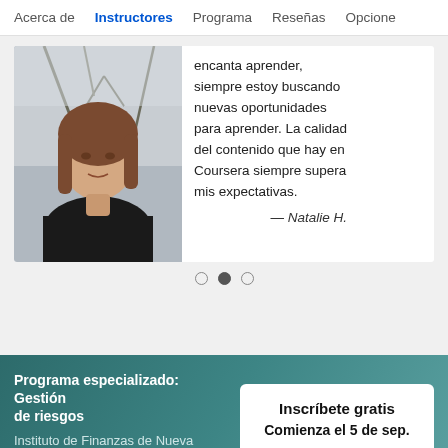Acerca de | Instructores | Programa | Reseñas | Opcione
[Figure (photo): Screenshot of a Coursera course page showing the Instructores tab, a testimonial card with a photo of a young woman with brown hair outdoors, a quote from Natalie H. in Spanish about enjoying learning and Coursera exceeding expectations, carousel dots, and a footer bar for 'Programa especializado: Gestión de riesgos' from Instituto de Finanzas de Nueva York with an 'Inscríbete gratis' button starting September 5.]
encanta aprender, siempre estoy buscando nuevas oportunidades para aprender. La calidad del contenido que hay en Coursera siempre supera mis expectativas.
— Natalie H.
Programa especializado: Gestión de riesgos
Instituto de Finanzas de Nueva York
Inscríbete gratis
Comienza el 5 de sep.